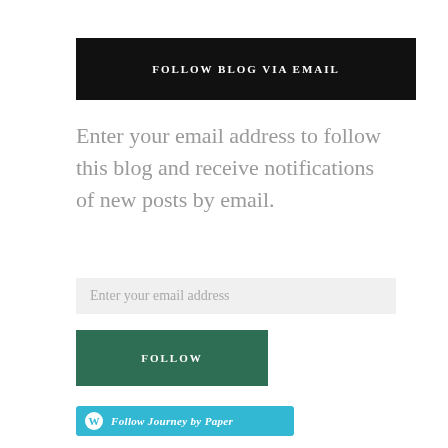FOLLOW BLOG VIA EMAIL
Enter your email address to follow this blog and receive notifications of new posts by email.
Enter your email address
FOLLOW
Follow Journey by Paper